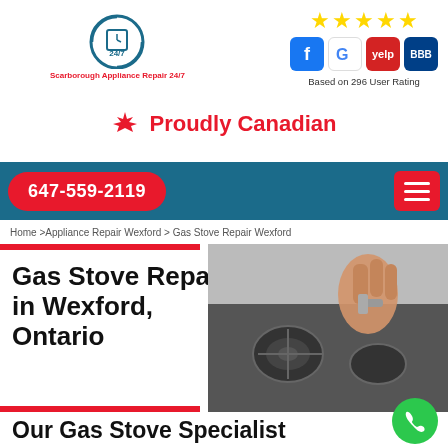[Figure (logo): Scarborough Appliance Repair 24/7 circular logo with clock icon]
[Figure (infographic): 5 gold stars with Facebook, Google, Yelp, BBB social/review icons below. Text: Based on 296 User Rating]
Proudly Canadian
647-559-2119
Home >Appliance Repair Wexford > Gas Stove Repair Wexford
Gas Stove Repair in Wexford, Ontario
[Figure (photo): Close-up photo of a gas stove burner being repaired by hands]
Our Gas Stove Specialist